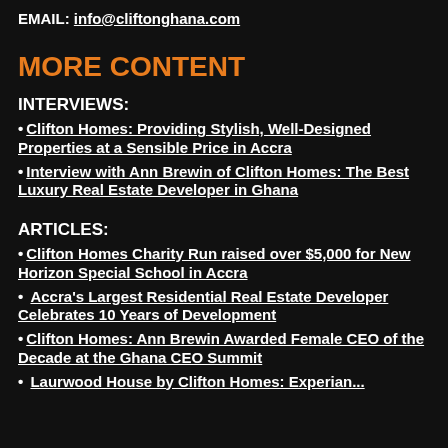EMAIL: info@cliftonghana.com
MORE CONTENT
INTERVIEWS:
• Clifton Homes: Providing Stylish, Well-Designed Properties at a Sensible Price in Accra
• Interview with Ann Brewin of Clifton Homes: The Best Luxury Real Estate Developer in Ghana
ARTICLES:
• Clifton Homes Charity Run raised over $5,000 for New Horizon Special School in Accra
• Accra's Largest Residential Real Estate Developer Celebrates 10 Years of Development
• Clifton Homes: Ann Brewin Awarded Female CEO of the Decade at the Ghana CEO Summit
• Laurwood House by Clifton Homes: Experian...